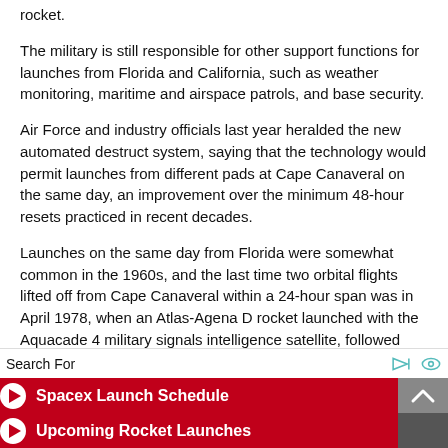rocket.
The military is still responsible for other support functions for launches from Florida and California, such as weather monitoring, maritime and airspace patrols, and base security.
Air Force and industry officials last year heralded the new automated destruct system, saying that the technology would permit launches from different pads at Cape Canaveral on the same day, an improvement over the minimum 48-hour resets practiced in recent decades.
Launches on the same day from Florida were somewhat common in the 1960s, and the last time two orbital flights lifted off from Cape Canaveral within a 24-hour span was in April 1978, when an Atlas-Agena D rocket launched with the Aquacade 4 military signals intelligence satellite, followed
Search For
Spacex Launch Schedule
Upcoming Rocket Launches